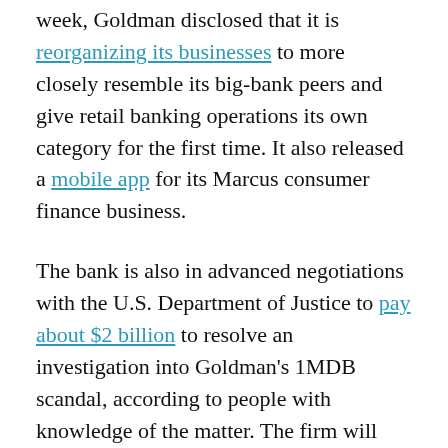week, Goldman disclosed that it is reorganizing its businesses to more closely resemble its big-bank peers and give retail banking operations its own category for the first time. It also released a mobile app for its Marcus consumer finance business.
The bank is also in advanced negotiations with the U.S. Department of Justice to pay about $2 billion to resolve an investigation into Goldman's 1MDB scandal, according to people with knowledge of the matter. The firm will likely have to create an independent monitor to oversee compliance efforts, the people said.
But more importantly to investors, later this month Goldman is holding its first-ever investor day, where Solomon will disclose the results of a business review and his plans to turbocharge growth and hit new financial